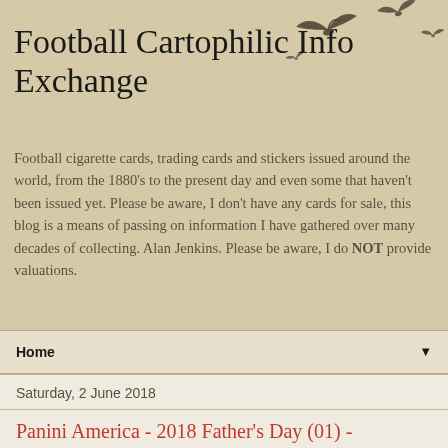Football Cartophilic Info Exchange
Football cigarette cards, trading cards and stickers issued around the world, from the 1880's to the present day and even some that haven't been issued yet. Please be aware, I don't have any cards for sale, this blog is a means of passing on information I have gathered over many decades of collecting. Alan Jenkins. Please be aware, I do NOT provide valuations.
Home ▼
Saturday, 2 June 2018
Panini America - 2018 Father's Day (01) - First pictures